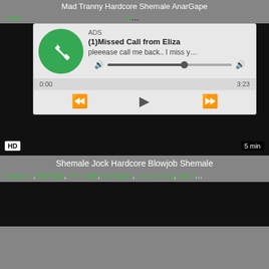Mad Tranny Hardcore Shemale AnarGape
hardcore, ... al...
[Figure (screenshot): Video player showing ad overlay: ADS, (1)Missed Call from Eliza, pleeease call me back.. I miss y..., with audio controls and media player controls (rewind, play, fast-forward), timestamp 0:00 / 3:23. HD badge and 5 min duration shown on video.]
Shemale Jock Hardcore Blowjob Shemale
hardcore, blowjob, shemale, blowjobs, assfucking, ass t...
[Figure (screenshot): Dark video thumbnail, second video preview]